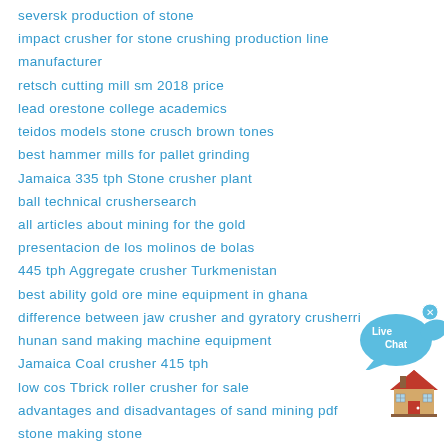seversk production of stone
impact crusher for stone crushing production line manufacturer
retsch cutting mill sm 2018 price
lead orestone college academics
teidos models stone crusch brown tones
best hammer mills for pallet grinding
Jamaica 335 tph Stone crusher plant
ball technical crushersearch
all articles about mining for the gold
presentacion de los molinos de bolas
445 tph Aggregate crusher Turkmenistan
best ability gold ore mine equipment in ghana
difference between jaw crusher and gyratory crusherri
hunan sand making machine equipment
Jamaica Coal crusher 415 tph
low cos Tbrick roller crusher for sale
advantages and disadvantages of sand mining pdf
stone making stone
[Figure (illustration): Live Chat speech bubble icon with blue bubble and fish-like shape and close button]
[Figure (illustration): House/home icon in red and brown colors]